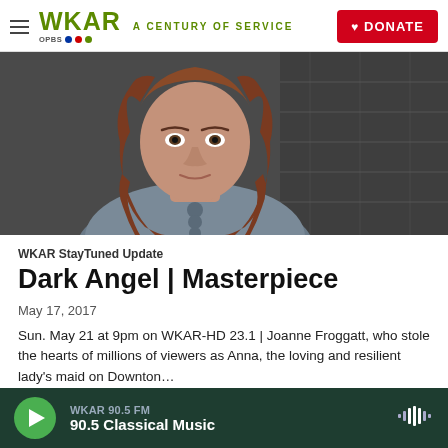WKAR A CENTURY OF SERVICE | DONATE
[Figure (photo): Portrait photo of a woman with long wavy auburn hair wearing a grey plaid shirt, looking directly at the camera against a dark background]
WKAR StayTuned Update
Dark Angel | Masterpiece
May 17, 2017
Sun. May 21 at 9pm on WKAR-HD 23.1 | Joanne Froggatt, who stole the hearts of millions of viewers as Anna, the loving and resilient lady's maid on Downton…
WKAR 90.5 FM — 90.5 Classical Music